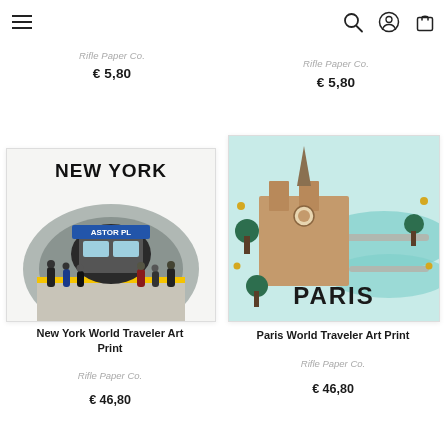Navigation bar with hamburger menu, search, account, and cart icons
Rifle Paper Co.
€ 5,80
Rifle Paper Co.
€ 5,80
[Figure (illustration): New York World Traveler Art Print showing NYC subway station with 'NEW YORK' title and 'ASTOR PL' sign, people on platform]
[Figure (illustration): Paris World Traveler Art Print showing Notre Dame cathedral, Seine river, bridges, and 'PARIS' text with teal/mint color scheme]
New York World Traveler Art Print
Rifle Paper Co.
€ 46,80
Paris World Traveler Art Print
Rifle Paper Co.
€ 46,80